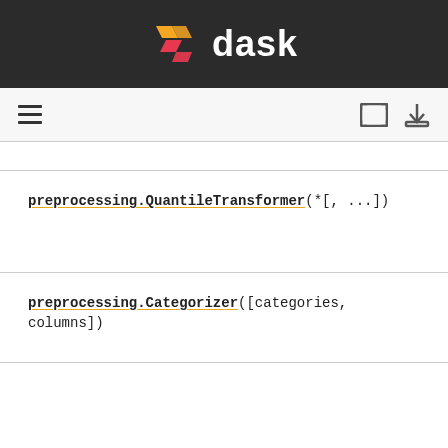dask
[Figure (screenshot): Navigation bar with hamburger menu icon on the left and expand/download icons on the right]
preprocessing.QuantileTransformer(*[, ...])
preprocessing.Categorizer([categories, columns])